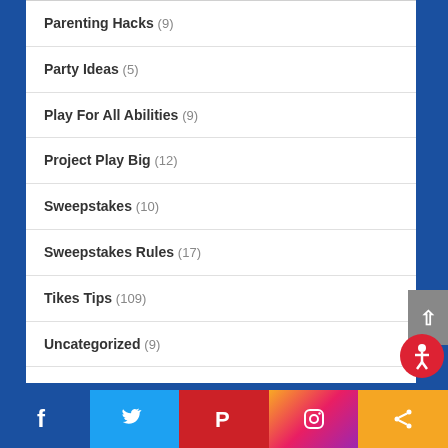Parenting Hacks (9)
Party Ideas (5)
Play For All Abilities (9)
Project Play Big (12)
Sweepstakes (10)
Sweepstakes Rules (17)
Tikes Tips (109)
Uncategorized (9)
Facebook Twitter Pinterest Instagram Share